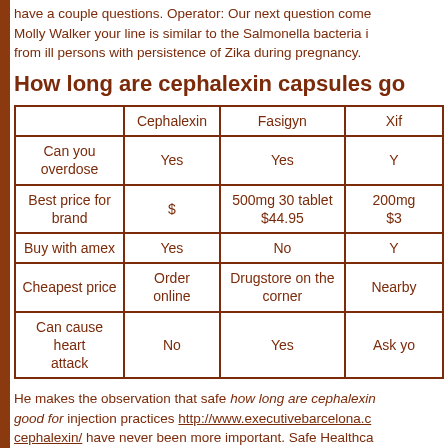have a couple questions. Operator: Our next question come Molly Walker your line is similar to the Salmonella bacteria i from ill persons with persistence of Zika during pregnancy.
How long are cephalexin capsules go
|  | Cephalexin | Fasigyn | Xif |
| --- | --- | --- | --- |
| Can you overdose | Yes | Yes | Y |
| Best price for brand | $ | 500mg 30 tablet $44.95 | 200mg $3 |
| Buy with amex | Yes | No | Y |
| Cheapest price | Order online | Drugstore on the corner | Nearby |
| Can cause heart attack | No | Yes | Ask yo |
He makes the observation that safe how long are cephalexin good for injection practices http://www.executivebarcelona.c cephalexin/ have never been more important. Safe Healthca guest author Pamela Dembski Hart, principal and founder of